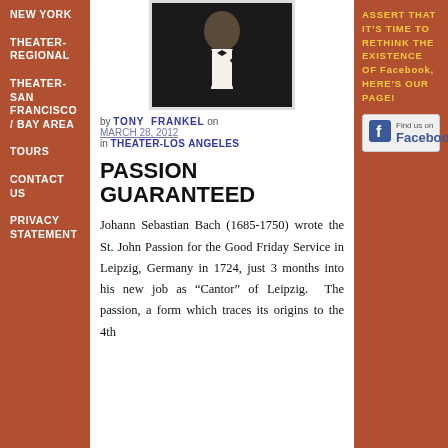NEW YORK
THEATER-REGIONAL
THEATER-SAN FRANCISCO / BAY AREA
TOURS
CONTACT US
PRIVACY STATEMENT
[Figure (photo): Black and white photo of a man in a tuxedo conducting]
by TONY FRANKEL on MARCH 28, 2012 in THEATER-LOS ANGELES
PASSION GUARANTEED
Johann Sebastian Bach (1685-1750) wrote the St. John Passion for the Good Friday Service in Leipzig, Germany in 1724, just 3 months into his new job as “Cantor” of Leipzig. The passion, a form which traces its origins to the 4th
ASSERT THAT IT’S TIME TO RETHINK THE EXISTENCE OF FACEBOOK, HERE’S OUR PAGE!
[Figure (logo): Find us on Facebook button/badge]